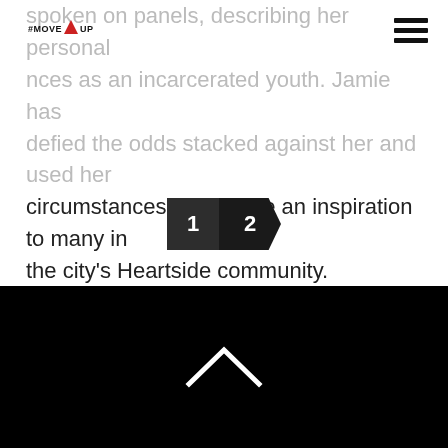#MOVE UP logo and hamburger menu
spoken on panels, describing her personal experiences as an incarcerated youth. Jamie has defied the odds stacked against her and used her circumstances to become an inspiration to many in the city's Heartside community.
[Figure (other): Pagination control with two buttons: '1' (dark square) and '2' (dark arrow/chevron shape)]
[Figure (other): Black footer bar with a white chevron/caret pointing upward in the center]